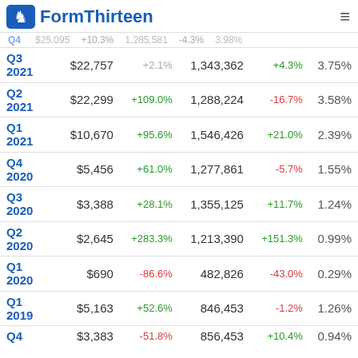FormThirteen
| Quarter | Value | Chg% | Shares | Shares Chg% | Port% |
| --- | --- | --- | --- | --- | --- |
| Q4 | $25,095 | +10.3% | 1,285,581 | -4.3% | 3.98% |
| Q3 2021 | $22,757 | +2.1% | 1,343,362 | +4.3% | 3.75% |
| Q2 2021 | $22,299 | +109.0% | 1,288,224 | -16.7% | 3.58% |
| Q1 2021 | $10,670 | +95.6% | 1,546,426 | +21.0% | 2.39% |
| Q4 2020 | $5,456 | +61.0% | 1,277,861 | -5.7% | 1.55% |
| Q3 2020 | $3,388 | +28.1% | 1,355,125 | +11.7% | 1.24% |
| Q2 2020 | $2,645 | +283.3% | 1,213,390 | +151.3% | 0.99% |
| Q1 2020 | $690 | -86.6% | 482,826 | -43.0% | 0.29% |
| Q1 2019 | $5,163 | +52.6% | 846,453 | -1.2% | 1.26% |
| Q4 | $3,383 | -51.8% | 856,453 | +10.4% | 0.94% |